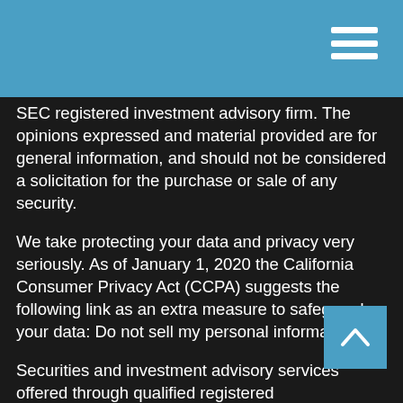SEC registered investment advisory firm. The opinions expressed and material provided are for general information, and should not be considered a solicitation for the purchase or sale of any security.
We take protecting your data and privacy very seriously. As of January 1, 2020 the California Consumer Privacy Act (CCPA) suggests the following link as an extra measure to safeguard your data: Do not sell my personal information.
Securities and investment advisory services offered through qualified registered representatives of MML Investors Services, LLC Member SIPC (www.SIPC.org<http://www.SIPC.org>) OSJ: 1221 Brickell Ave. Suite 300 Miami Florida 33131: 786-491-7700. The Eppy Group is not an affiliate or subsidiary of MML Investors Services, LLC or its affiliated companies.
" The Eppy Group"  will never ask job candidates to pay any kind of fee, make cash or check advancements, cash checks or make an investment